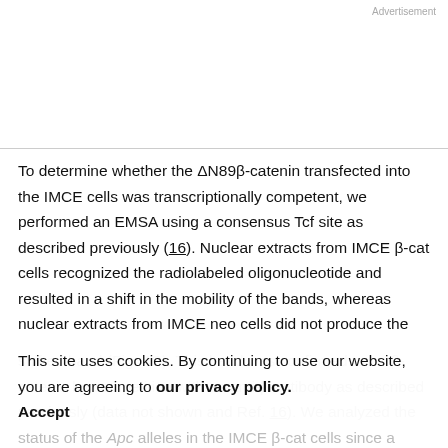Advertisement
To determine whether the ΔN89β-catenin transfected into the IMCE cells was transcriptionally competent, we performed an EMSA using a consensus Tcf site as described previously (16). Nuclear extracts from IMCE β-cat cells recognized the radiolabeled oligonucleotide and resulted in a shift in the mobility of the bands, whereas nuclear extracts from IMCE neo cells did not produce the shifted band (Fig. 4C). This band was confirmed to be β-catenin by competition with an anti-β antibody as described previously (data not shown and Ref. 16). We analyzed the status of the Apc alleles in the IMCE β-cat cells since a
This site uses cookies. By continuing to use our website, you are agreeing to our privacy policy. Accept